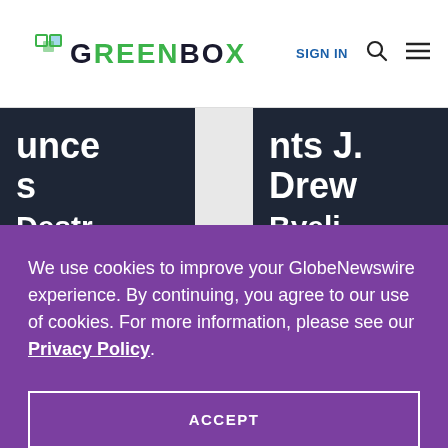[Figure (logo): GreenBox logo with green squares icon and dark text]
unce s Destr
nts J. Drew Byeli
We use cookies to improve your GlobeNewswire experience. By continuing, you agree to our use of cookies. For more information, please see our Privacy Policy.
ACCEPT